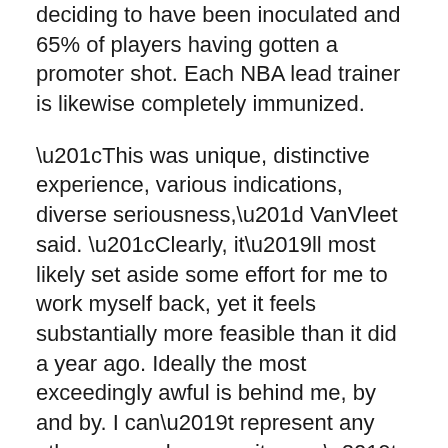deciding to have been inoculated and 65% of players having gotten a promoter shot. Each NBA lead trainer is likewise completely immunized.
“This was unique, distinctive experience, various indications, diverse seriousness,” VanVleet said. “Clearly, it’ll most likely set aside some effort for me to work myself back, yet it feels substantially more feasible than it did a year ago. Ideally the most exceedingly awful is behind me, by and by. I can’t represent any other person however it wasn’t really awful this time around.”
At the point when VanVleet gets back to the court in Toronto on Friday against the Los Angeles Clippers, just 1,000 fans will be permitted there to see him. Authorities in Ontario said they are covering swarm sizes for indoor settings at 1,000 observers or half limit, whichever is less, because of infection flare-ups.
It isn’t clear how long that standard will be set up. The